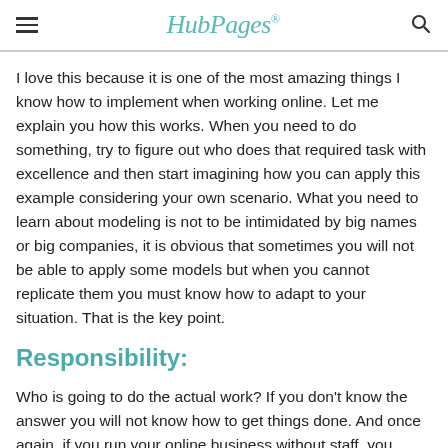HubPages
I love this because it is one of the most amazing things I know how to implement when working online. Let me explain you how this works. When you need to do something, try to figure out who does that required task with excellence and then start imagining how you can apply this example considering your own scenario. What you need to learn about modeling is not to be intimidated by big names or big companies, it is obvious that sometimes you will not be able to apply some models but when you cannot replicate them you must know how to adapt to your situation. That is the key point.
Responsibility:
Who is going to do the actual work? If you don't know the answer you will not know how to get things done. And once again, if you run your online business without staff, you